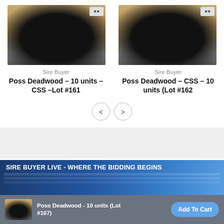[Figure (photo): Black bull standing, left card, Lot #161]
Sire Buyer
Poss Deadwood – 10 units – CSS –Lot #161
[Figure (photo): Black bull standing, right card, Lot #162]
Sire Buyer
Poss Deadwood – CSS – 10 units (Lot #162
[Figure (screenshot): Sire Buyer Live banner – WHERE THE BIDDING BEGINS – blue gradient background with data table rows]
Poss Deadwood - 10 units (Lot #167)
Add To Cart